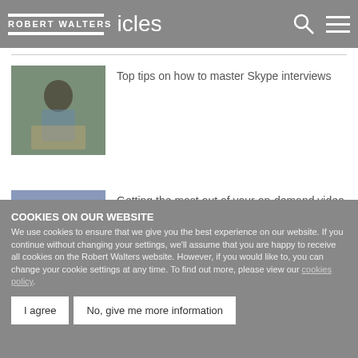ROBERT WALTERS | icles
[Figure (photo): Woman sitting at laptop in cafe setting]
Top tips on how to master Skype interviews
[Figure (photo): Woman standing with tablet in office setting]
Getting the most out of your on-demand video interview
COOKIES ON OUR WEBSITE
We use cookies to ensure that we give you the best experience on our website. If you continue without changing your settings, we'll assume that you are happy to receive all cookies on the Robert Walters website. However, if you would like to, you can change your cookie settings at any time. To find out more, please view our cookies policy.